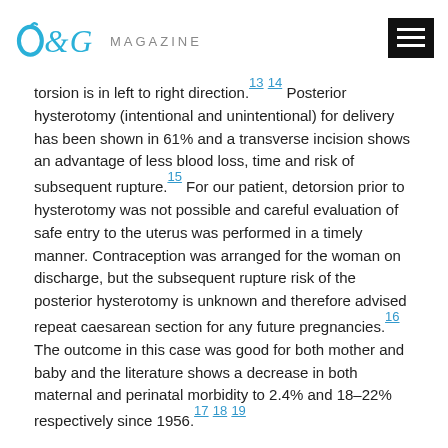O&G MAGAZINE
torsion is in left to right direction.13 14 Posterior hysterotomy (intentional and unintentional) for delivery has been shown in 61% and a transverse incision shows an advantage of less blood loss, time and risk of subsequent rupture.15 For our patient, detorsion prior to hysterotomy was not possible and careful evaluation of safe entry to the uterus was performed in a timely manner. Contraception was arranged for the woman on discharge, but the subsequent rupture risk of the posterior hysterotomy is unknown and therefore advised repeat caesarean section for any future pregnancies.16 The outcome in this case was good for both mother and baby and the literature shows a decrease in both maternal and perinatal morbidity to 2.4% and 18–22% respectively since 1956.17 18 19
Case two: uterine rupture